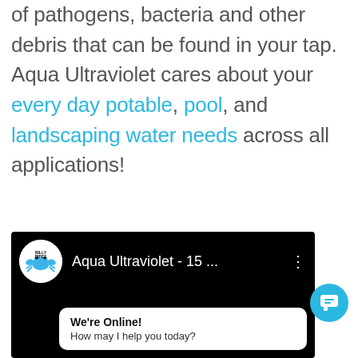of pathogens, bacteria and other debris that can be found in your tap.
Aqua Ultraviolet cares about your every day potable, pool, and landscaping water needs across all applications!
[Figure (screenshot): Screenshot of a YouTube video player showing a video titled 'Aqua Ultraviolet - 15 ...' from the channel Billy Pipes (with a blue crab logo). A live chat widget overlay shows 'We're Online! How may I help you today?']